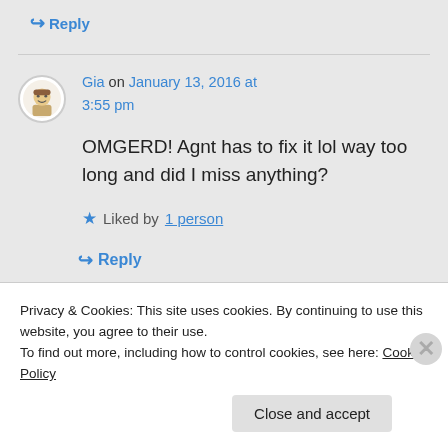↪ Reply
Gia on January 13, 2016 at 3:55 pm
OMGERD! Agnt has to fix it lol way too long and did I miss anything?
★ Liked by 1 person
↪ Reply
Privacy & Cookies: This site uses cookies. By continuing to use this website, you agree to their use. To find out more, including how to control cookies, see here: Cookie Policy
Close and accept